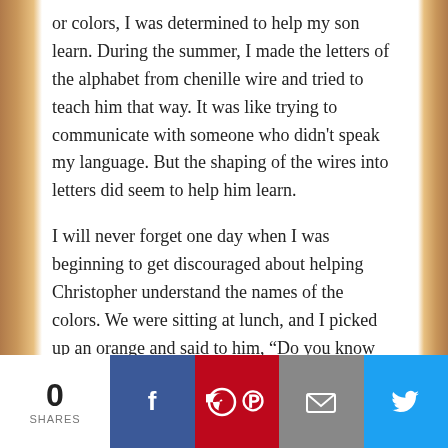or colors, I was determined to help my son learn. During the summer, I made the letters of the alphabet from chenille wire and tried to teach him that way. It was like trying to communicate with someone who didn't speak my language. But the shaping of the wires into letters did seem to help him learn.
I will never forget one day when I was beginning to get discouraged about helping Christopher understand the names of the colors. We were sitting at lunch, and I picked up an orange and said to him, “Do you know what this is?”
He replied, “An orange.”
0 SHARES | Facebook | Pinterest | Email | Twitter